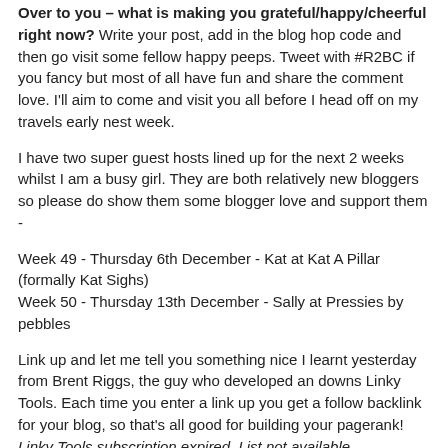Over to you – what is making you grateful/happy/cheerful right now?  Write your post, add in the blog hop code and then go visit some fellow happy peeps.  Tweet with #R2BC if you fancy but most of all have fun and share the comment love.  I'll aim to come and visit you all before I head off on my travels early nest week.
I have two super guest hosts lined up for the next 2 weeks whilst I am a busy girl. They are both relatively new bloggers so please do show them some blogger love and support them -
Week 49 - Thursday 6th December - Kat at Kat A Pillar (formally Kat Sighs)
Week 50 - Thursday 13th December - Sally at Pressies by pebbles
Link up and let me tell you something nice I learnt yesterday from Brent Riggs, the guy who developed an downs Linky Tools. Each time you enter a link up you get a follow backlink for your blog, so that's all good for building your pagerank! Linky Tools subscription expired. List not available.